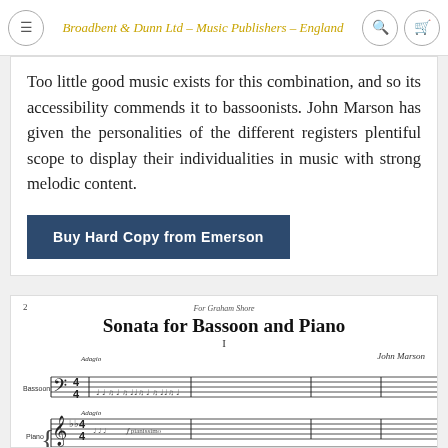Broadbent & Dunn Ltd - Music Publishers - England
Too little good music exists for this combination, and so its accessibility commends it to bassoonists. John Marson has given the personalities of the different registers plentiful scope to display their individualities in music with strong melodic content.
Buy Hard Copy from Emerson
[Figure (other): Sheet music preview showing first page of Sonata for Bassoon and Piano by John Marson, Movement I, Adagio tempo marking, with bassoon and piano staves]